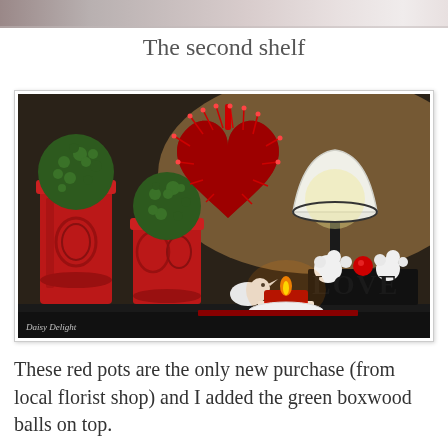[Figure (photo): Partial top strip of a photo showing a blurred image, likely the top edge of a previous shelf photo]
The second shelf
[Figure (photo): A decorated shelf with Valentine's Day decor: two green boxwood balls in red ceramic pots on the left, a large red feather heart ornament hanging in the center, a black table lamp with white shade on the right, a lit red tea candle in the center foreground, a small white ceramic bird, and a black LOVE sign with white floral embellishments and a red ornament ball. Watermark reads 'Daisy Delight' in the lower left corner.]
These red pots are the only new purchase (from local florist shop) and I added the green boxwood balls on top.